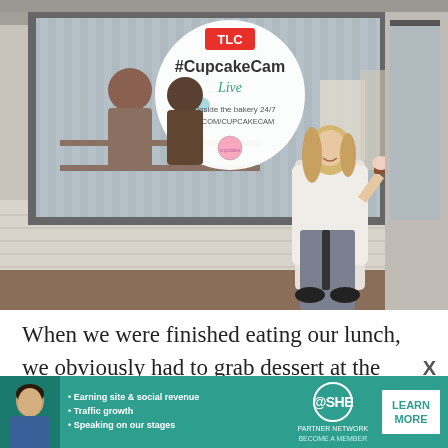[Figure (photo): A smiling blonde woman standing in front of a bakery storefront with a large window displaying a TLC #CupcakeCam Live sign. The sign reads 'Go inside the bakery 24/7 TLC.COM/CUPCAKECAM'. She is holding a cupcake and wearing a white lace top, light pink cardigan, gray jeans, and black shoes. People are visible inside the bakery through the window.]
When we were finished eating our lunch, we obviously had to grab dessert at the famous
[Figure (infographic): Advertisement banner for SHE Media Partner Network in teal/green color. Features a woman's photo on the left, bullet points: 'Earning site & social revenue', 'Traffic growth', 'Speaking on our stages', the SHE logo in a circle, 'PARTNER NETWORK', 'BECOME A MEMBER', and a white 'LEARN MORE' button.]